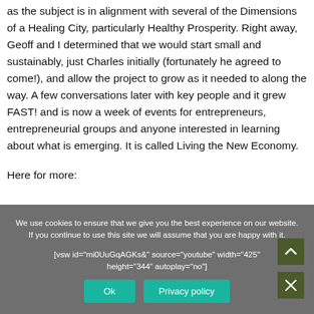as the subject is in alignment with several of the Dimensions of a Healing City, particularly Healthy Prosperity. Right away, Geoff and I determined that we would start small and sustainably, just Charles initially (fortunately he agreed to come!), and allow the project to grow as it needed to along the way. A few conversations later with key people and it grew FAST! and is now a week of events for entrepreneurs, entrepreneurial groups and anyone interested in learning about what is emerging. It is called Living the New Economy.
Here for more:
We use cookies to ensure that we give you the best experience on our website. If you continue to use this site we will assume that you are happy with it.
[vsw id="mi0UuGqAGKs&" source="youtube" width="425" height="344" autoplay="no"]